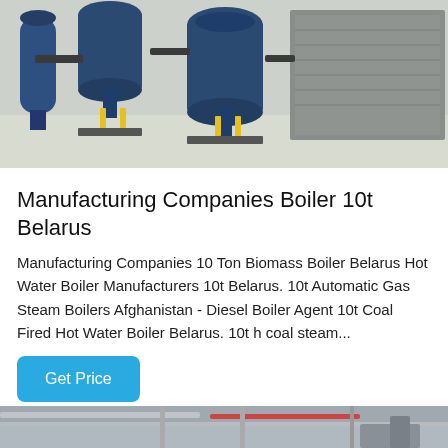[Figure (photo): Industrial boiler room with multiple large blue cylindrical filters/separators and gray metal boiler units on a white tiled floor]
Manufacturing Companies Boiler 10t Belarus
Manufacturing Companies 10 Ton Biomass Boiler Belarus Hot Water Boiler Manufacturers 10t Belarus. 10t Automatic Gas Steam Boilers Afghanistan - Diesel Boiler Agent 10t Coal Fired Hot Water Boiler Belarus. 10t h coal steam...
Get Price
[Figure (photo): Industrial facility interior showing pipes, scaffolding and equipment]